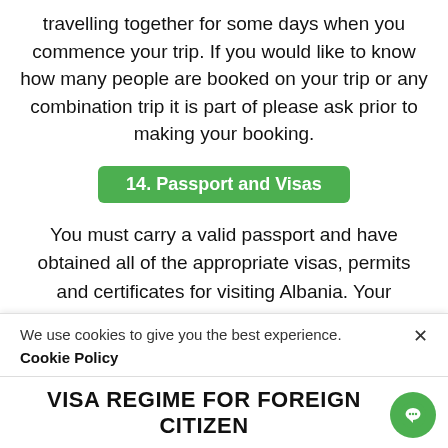travelling together for some days when you commence your trip. If you would like to know how many people are booked on your trip or any combination trip it is part of please ask prior to making your booking.
14. Passport and Visas
You must carry a valid passport and have obtained all of the appropriate visas, permits and certificates for visiting Albania. Your passport must be valid for 6 months beyond the duration of the trip. It is your responsibility to ensure that you are in possession of the correct visas, permits and certificates for your trip. We are not responsible if you are refused entry to a country because you lack the correct passport, visa or other
We use cookies to give you the best experience.
Cookie Policy
VISA REGIME FOR FOREIGN CITIZEN